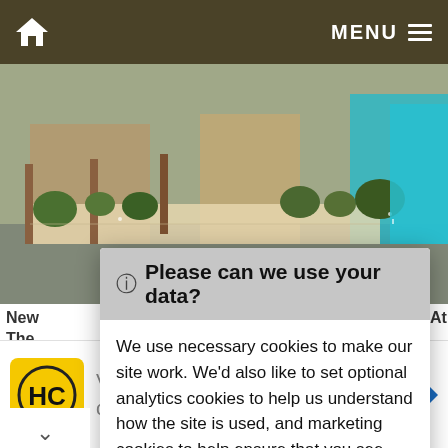MENU
[Figure (photo): Outdoor streetscape showing plants, decorative lattice fencing, wooden structures, and a teal/blue building facade in the background]
New
The
Senio
🛈 Please can we use your data?
We use necessary cookies to make our site work. We'd also like to set optional analytics cookies to help us understand how the site is used, and marketing cookies to help ensure that you see relevant advertising. You can allow all cookies or manage them individually. More information
[Figure (infographic): Advertisement banner: HC logo on yellow background, text reading 'View store hours, get directions, or call your salon!' with a blue direction/navigation arrow icon]
View store hours, get directions, or call your salon!